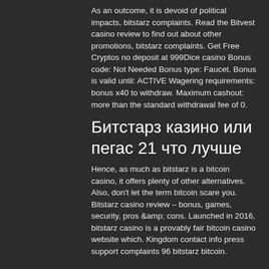As an outcome, it is devoid of political impacts, bitstarz complaints. Read the Bitvest casino review to find out about other promotions, bitstarz complaints. Get Free Cryptos no deposit at 999Dice casino Bonus code: Not Needed Bonus type: Faucet. Bonus is valid until: ACTIVE Wagering requirements: bonus x40 to withdraw. Maximum cashout: more than the standard withdrawal fee of 0.
Битстарз казино или пегас 21 что лучше
Hence, as much as bitstarz is a bitcoin casino, it offers plenty of other alternatives. Also, don't let the term bitcoin scare you. Bitstarz casino review – bonus, games, security, pros &amp; cons. Launched in 2016, bitstarz casino is a provably fair bitcoin casino website which. Kingdom contact info press support complaints 96 bitstarz bitcoin.